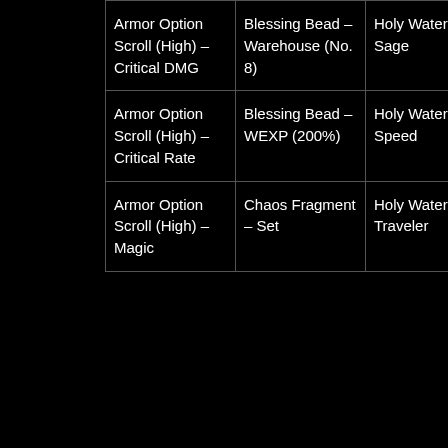| Armor Option Scroll (High) – Critical DMG | Blessing Bead – Warehouse (No. 8) | Holy Water of Sage | Slot Extender(Highest |
| Armor Option Scroll (High) – Critical Rate | Blessing Bead – WEXP (200%) | Holy Water of Speed | Slot Extender(Medium |
| Armor Option Scroll (High) – Magic | Chaos Fragment – Set | Holy Water of Traveler | Summer Vacation |